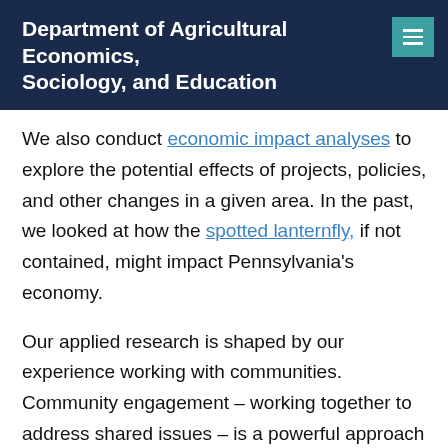Department of Agricultural Economics, Sociology, and Education
We also conduct economic impact analyses to explore the potential effects of projects, policies, and other changes in a given area. In the past, we looked at how the spotted lanternfly, if not contained, might impact Pennsylvania's economy.
Our applied research is shaped by our experience working with communities. Community engagement – working together to address shared issues – is a powerful approach to strengthening your community. In addition to doing research, our team co-creates programs and trainings, and we partner with on-the-ground practitioners to bring engagement to life. The engagement toolbox on our website also offers practitioners a guide to concepts, tools, and strategies in community engagement, and